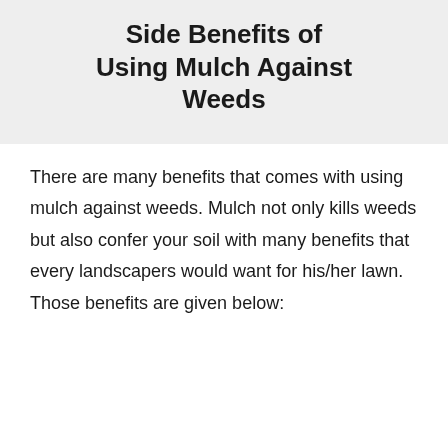Side Benefits of Using Mulch Against Weeds
There are many benefits that comes with using mulch against weeds. Mulch not only kills weeds but also confer your soil with many benefits that every landscapers would want for his/her lawn. Those benefits are given below: